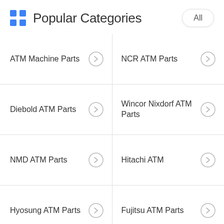Popular Categories
| ATM Machine Parts | NCR ATM Parts |
| Diebold ATM Parts | Wincor Nixdorf ATM Parts |
| NMD ATM Parts | Hitachi ATM |
| Hyosung ATM Parts | Fujitsu ATM Parts |
E-mail
Subscribe